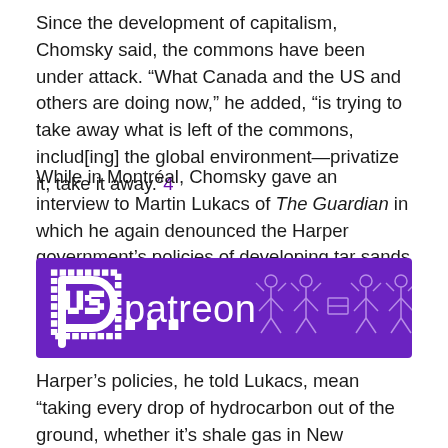Since the development of capitalism, Chomsky said, the commons have been under attack. “What Canada and the US and others are doing now,” he added, “is trying to take away what is left of the commons, includ[ing] the global environment—privatize it, take it away.”4
While in Montréal, Chomsky gave an interview to Martin Lukacs of The Guardian in which he again denounced the Harper government’s policies of developing tar sands and shale gas resources.
[Figure (logo): Patreon logo banner with purple background, Patreon P icon and wordmark in white, decorative stick figures on the right]
Harper’s policies, he told Lukacs, mean “taking every drop of hydrocarbon out of the ground, whether it’s shale gas in New Brunswick or tar sands in Alberta and trying to destroy the environment as fast as possible,